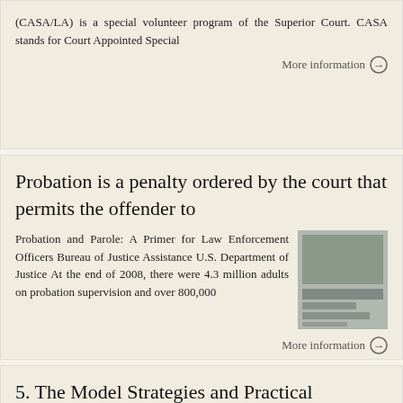(CASA/LA) is a special volunteer program of the Superior Court. CASA stands for Court Appointed Special
More information →
Probation is a penalty ordered by the court that permits the offender to
Probation and Parole: A Primer for Law Enforcement Officers Bureau of Justice Assistance U.S. Department of Justice At the end of 2008, there were 4.3 million adults on probation supervision and over 800,000
[Figure (photo): Thumbnail image of a document page related to Probation and Parole]
More information →
5. The Model Strategies and Practical Measures are aimed at providing de jure and de